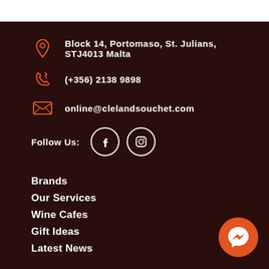Block 14, Portomaso, St. Julians, STJ4013 Malta
(+356) 2138 9898
online@clelandsouchet.com
Follow Us:
Brands
Our Services
Wine Cafes
Gift Ideas
Latest News